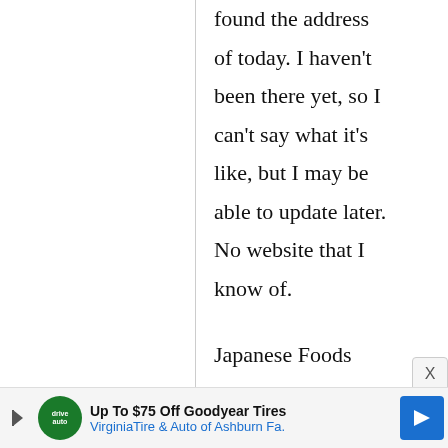found the address of today. I haven't been there yet, so I can't say what it's like, but I may be able to update later. No website that I know of.
Japanese Foods
15132 Old Hickory Blvd
Nashville, TN
[Figure (screenshot): Advertisement bar at bottom: 'Up To $75 Off Goodyear Tires' from VirginiaTire & Auto of Ashburn Fa., with play button, green logo, and blue arrow icon.]